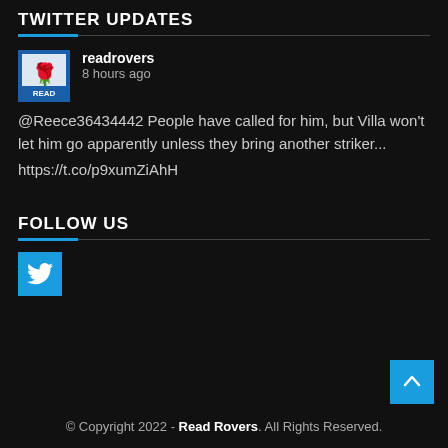TWITTER UPDATES
readrovers
8 hours ago
@Reece36434442 People have called for him, but Villa won't let him go apparently unless they bring another striker...
https://t.co/p9xumZiAhH
FOLLOW US
[Figure (logo): Twitter bird icon in a blue square]
© Copyright 2022 - Read Rovers. All Rights Reserved.